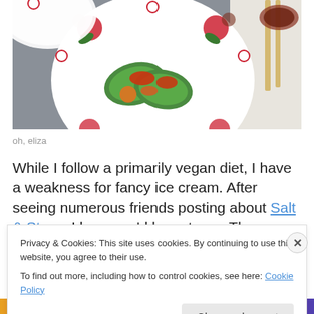[Figure (photo): A white plate with red floral design containing green-wrapped food items with red sauce, placed on a gray surface. Chopsticks and a white napkin are visible to the right, with another plate partially visible at the top left.]
oh, eliza
While I follow a primarily vegan diet, I have a weakness for fancy ice cream. After seeing numerous friends posting about Salt & Straw, I know we'd have to go. There are
Privacy & Cookies: This site uses cookies. By continuing to use this website, you agree to their use.
To find out more, including how to control cookies, see here: Cookie Policy